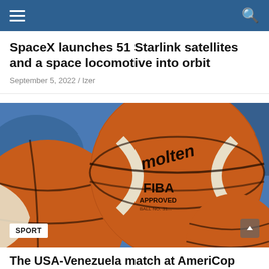Navigation bar with hamburger menu and search icon
SpaceX launches 51 Starlink satellites and a space locomotive into orbit
September 5, 2022 / Izer
[Figure (photo): Close-up photo of multiple Molten FIBA Approved basketballs piled together with blue background]
SPORT
The USA-Venezuela match at AmeriCop was